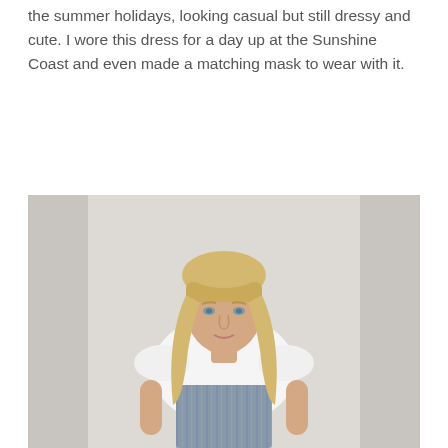the summer holidays, looking casual but still dressy and cute. I wore this dress for a day up at the Sunshine Coast and even made a matching mask to wear with it.
[Figure (photo): A woman with long blonde hair and bangs standing against a light grey wall, wearing a white short-sleeved top with a blue and white striped fitted dress/pinafore overlay.]